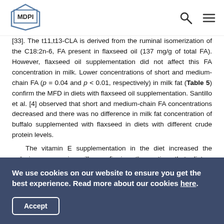MDPI
[33]. The t11,t13-CLA is derived from the ruminal isomerization of the C18:2n-6, FA present in flaxseed oil (137 mg/g of total FA). However, flaxseed oil supplementation did not affect this FA concentration in milk. Lower concentrations of short and medium-chain FA (p = 0.04 and p < 0.01, respectively) in milk fat (Table 5) confirm the MFD in diets with flaxseed oil supplementation. Santillo et al. [4] observed that short and medium-chain FA concentrations decreased and there was no difference in milk fat concentration of buffalo supplemented with flaxseed in diets with different crude protein levels.
The vitamin E supplementation in the diet increased the reducing power in milk, confirming the notion that dietary antioxidants were partially transferred to the milk, improving its
We use cookies on our website to ensure you get the best experience. Read more about our cookies here.
Accept